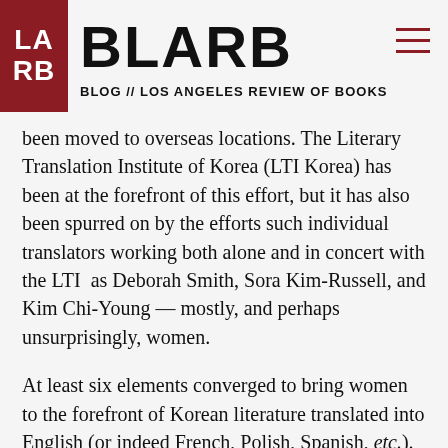BLARB // BLOG // LOS ANGELES REVIEW OF BOOKS
been moved to overseas locations. The Literary Translation Institute of Korea (LTI Korea) has been at the forefront of this effort, but it has also been spurred on by the efforts such individual translators working both alone and in concert with the LTI as Deborah Smith, Sora Kim-Russell, and Kim Chi-Young — mostly, and perhaps unsurprisingly, women.
At least six elements converged to bring women to the forefront of Korean literature translated into English (or indeed French, Polish, Spanish, etc.). First, the creation of hangul made writing possible for women.